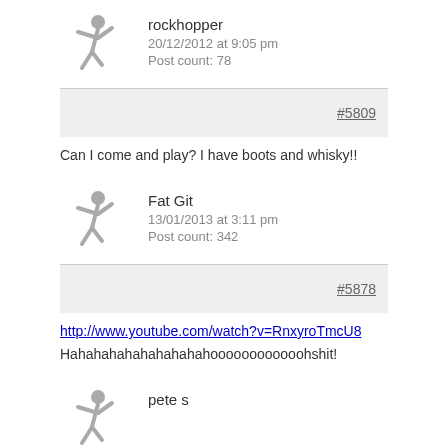[Figure (illustration): Generic gray user avatar icon (person dancing/waving)]
rockhopper
20/12/2012 at 9:05 pm
Post count: 78
#5809
Can I come and play? I have boots and whisky!!
[Figure (illustration): Generic gray user avatar icon (person dancing/waving)]
Fat Git
13/01/2013 at 3:11 pm
Post count: 342
#5878
http://www.youtube.com/watch?v=RnxyroTmcU8
Hahahahahahahahahahoooooooooooohshit!
[Figure (illustration): Generic gray user avatar icon (person dancing/waving), partially visible]
pete s